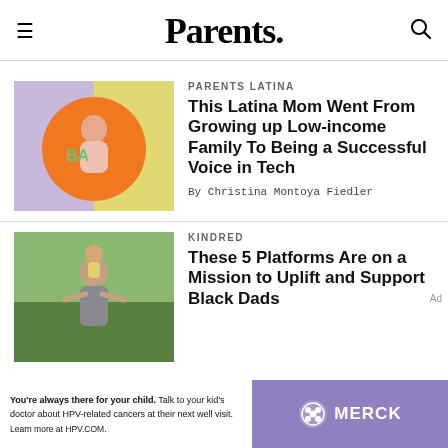Parents.
PARENTS LATINA
This Latina Mom Went From Growing up Low-income Family To Being a Successful Voice in Tech
By Christina Montoya Fiedler
[Figure (photo): Colorful illustration of a woman inside an orange circle on a yellow and purple background]
KINDRED
These 5 Platforms Are on a Mission to Uplift and Support Black Dads
[Figure (photo): Photo of a man lifting a child outdoors with green trees in background]
Ad
You're always there for your child. Talk to your kid's doctor about HPV-related cancers at their next well visit. Learn more at HPV.COM.
[Figure (logo): Merck logo with circular icon on purple background]